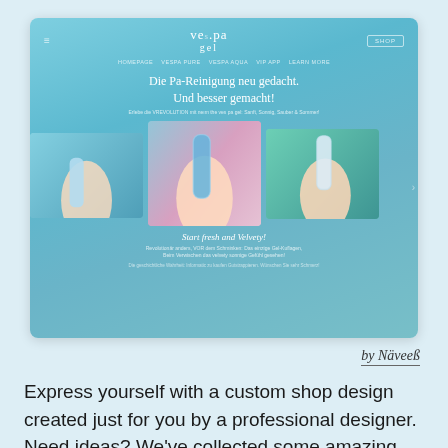[Figure (screenshot): Screenshot of Vespa Gel website showing a teal/blue gradient e-commerce site with product images of hands holding skincare tubes, headline 'Die Pa-Reinigung neu gedacht. Und besser gemacht!' and tagline 'Start fresh and Velvety!']
by Näveeß
Express yourself with a custom shop design created just for you by a professional designer. Need ideas? We've collected some amazing